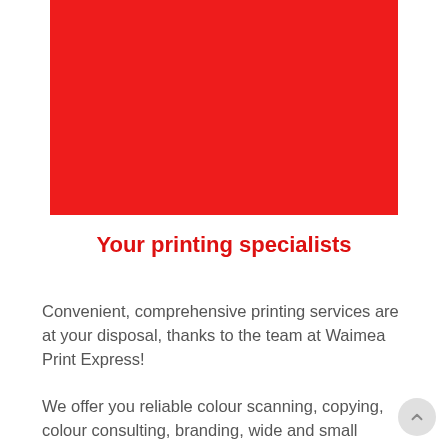[Figure (illustration): Large solid red rectangle image area at the top of the page]
Your printing specialists
Convenient, comprehensive printing services are at your disposal, thanks to the team at Waimea Print Express!
We offer you reliable colour scanning, copying, colour consulting, branding, wide and small